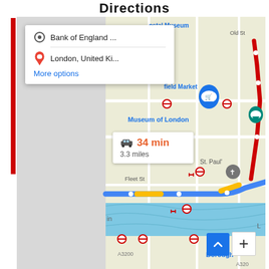Directions
[Figure (screenshot): Google Maps directions screenshot showing a route in London from Bank of England to London, United Kingdom. The map shows a driving route of 34 min and 3.3 miles passing through Museum of London area, Fleet St, and crossing the Thames. A directions popup shows origin 'Bank of England ...' and destination 'London, United Ki...' with a 'More options' link. A blue route line with orange segments is visible on the map. Navigation controls including a zoom (+) button and scroll-to-top button are visible.]